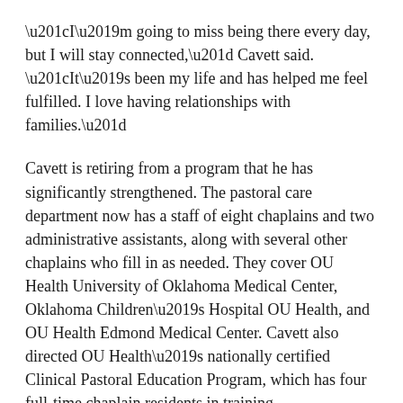“I’m going to miss being there every day, but I will stay connected,” Cavett said. “It’s been my life and has helped me feel fulfilled. I love having relationships with families.”
Cavett is retiring from a program that he has significantly strengthened. The pastoral care department now has a staff of eight chaplains and two administrative assistants, along with several other chaplains who fill in as needed. They cover OU Health University of Oklahoma Medical Center, Oklahoma Children’s Hospital OU Health, and OU Health Edmond Medical Center. Cavett also directed OU Health’s nationally certified Clinical Pastoral Education Program, which has four full-time chaplain residents in training.
Their work is often demanding. Last year, there were 6,500 trauma cases at OU Health’s Level 1 Trauma…